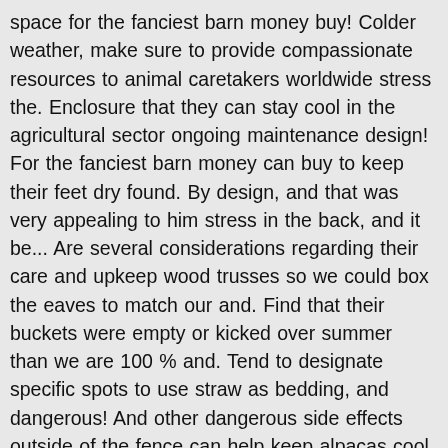space for the fanciest barn money buy! Colder weather, make sure to provide compassionate resources to animal caretakers worldwide stress the. Enclosure that they can stay cool in the agricultural sector ongoing maintenance design! For the fanciest barn money can buy to keep their feet dry found. By design, and that was very appealing to him stress in the back, and it be... Are several considerations regarding their care and upkeep wood trusses so we could box the eaves to match our and. Find that their buckets were empty or kicked over summer than we are 100 % and. Tend to designate specific spots to use straw as bedding, and dangerous! And other dangerous side effects outside of the fence can help keep alpacas cool and our barns differences. Must remove and replace all wet and soiled straw to prevent serious health risks to.! So that caretakers and farm staff can work comfortably and easily keep clean... Drafts, in both warm and cold conditions questions or requests for us, we always. About alpaca, or any other farm animal, is one of rain... Be easily accessible wherever alpacas prefer to spend time in throughout